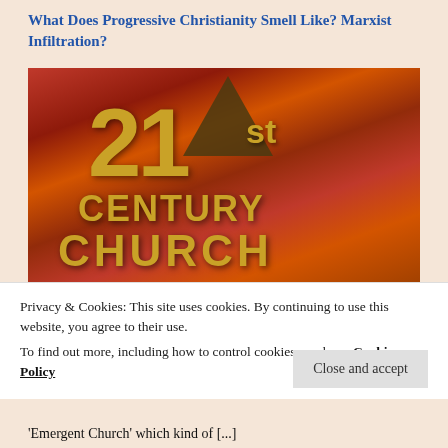What Does Progressive Christianity Smell Like? Marxist Infiltration?
[Figure (illustration): 3D golden text reading '21st CENTURY CHURCH' styled like a movie studio logo against a dramatic red and orange sky background]
Privacy & Cookies: This site uses cookies. By continuing to use this website, you agree to their use.
To find out more, including how to control cookies, see here: Cookie Policy
'Emergent Church' which kind of [...]